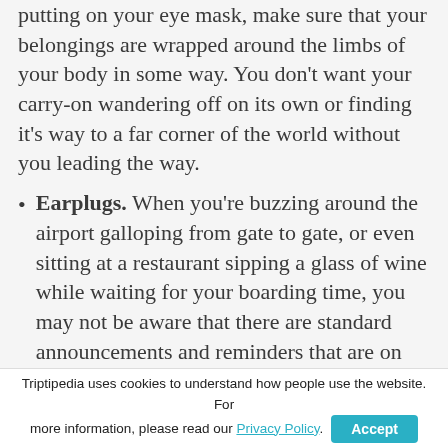putting on your eye mask, make sure that your belongings are wrapped around the limbs of your body in some way. You don't want your carry-on wandering off on its own or finding it's way to a far corner of the world without you leading the way.
Earplugs. When you're buzzing around the airport galloping from gate to gate, or even sitting at a restaurant sipping a glass of wine while waiting for your boarding time, you may not be aware that there are standard announcements and reminders that are on loop at pre-set intervals. However, when the airport consists of only yourself maybe a small handful of other travelers and the graveyard airport staff, the jingles and announcements
Triptipedia uses cookies to understand how people use the website. For more information, please read our Privacy Policy. Accept